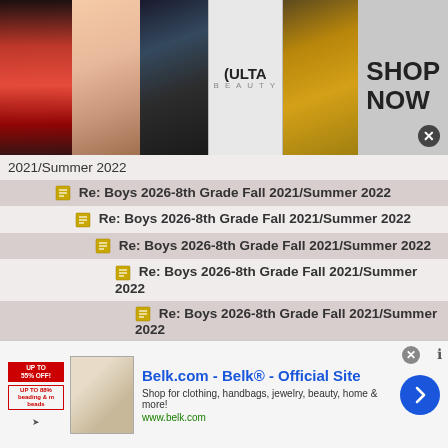[Figure (other): Advertisement banner at top featuring makeup/beauty images and Ulta Beauty logo with SHOP NOW text]
2021/Summer 2022
Re: Boys 2026-8th Grade Fall 2021/Summer 2022
Re: Boys 2026-8th Grade Fall 2021/Summer 2022
Re: Boys 2026-8th Grade Fall 2021/Summer 2022
Re: Boys 2026-8th Grade Fall 2021/Summer 2022
Re: Boys 2026-8th Grade Fall 2021/Summer 2022
Re: Boys 2026-8th Grade Fall
[Figure (other): Belk.com advertisement banner with logo, sale box, product image, and arrow button]